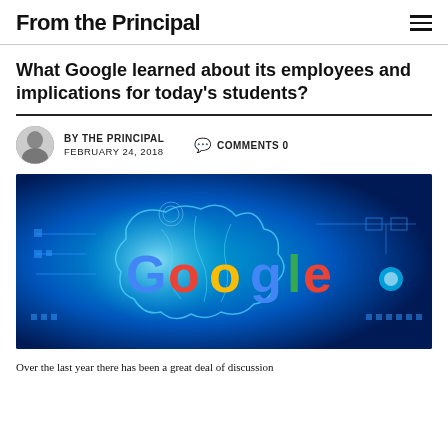From the Principal
What Google learned about its employees and implications for today's students?
BY THE PRINCIPAL   FEBRUARY 24, 2018   COMMENTS 0
[Figure (photo): Google logo over a glowing blue brain/AI technology background with circuit-board and gear imagery]
Over the last year there has been a great deal of discussion